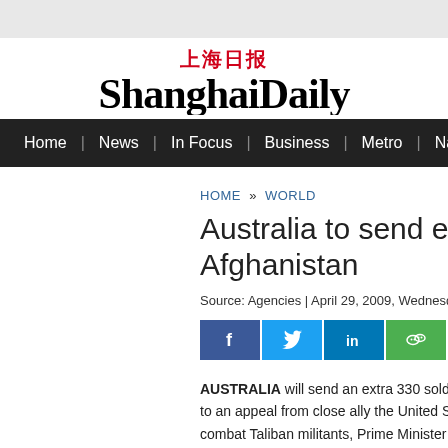上海日报 ShanghaiDaily
Home | News | In Focus | Business | Metro | Nation | Wor…
HOME » WORLD
Australia to send extra … Afghanistan
Source: Agencies | April 29, 2009, Wednesday
[Figure (other): Social share buttons: Facebook, Twitter, LinkedIn, WeChat]
AUSTRALIA will send an extra 330 soldie… to an appeal from close ally the United S… combat Taliban militants, Prime Minister…
The troops and a small number of polic…